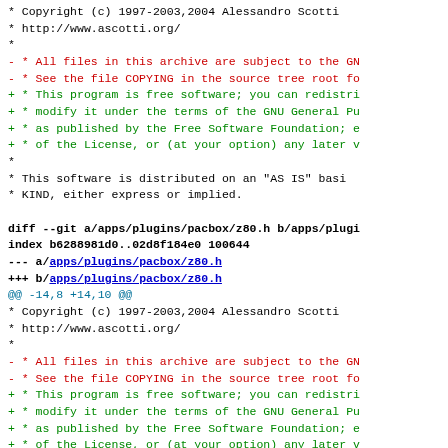diff output showing git diff of apps/plugins/pacbox/z80.h with copyright license text changes from GNU archive license to GPL free software license
Copyright (c) 1997-2003,2004 Alessandro Scotti
 * http://www.ascotti.org/
 *
- * All files in this archive are subject to the GN
- * See the file COPYING in the source tree root fo
+ * This program is free software; you can redistri
+ * modify it under the terms of the GNU General Pu
+ * as published by the Free Software Foundation; e
+ * of the License, or (at your option) any later v
 *
 * This software is distributed on an "AS IS" basi
 * KIND, either express or implied.

diff --git a/apps/plugins/pacbox/z80.h b/apps/plugi
index b6288981d0..02d8f184e0 100644
--- a/apps/plugins/pacbox/z80.h
+++ b/apps/plugins/pacbox/z80.h
@@ -14,8 +14,10 @@
 * Copyright (c) 1997-2003,2004 Alessandro Scotti
 * http://www.ascotti.org/
 *
- * All files in this archive are subject to the GN
- * See the file COPYING in the source tree root fo
+ * This program is free software; you can redistri
+ * modify it under the terms of the GNU General Pu
+ * as published by the Free Software Foundation; e
+ * of the License, or (at your option) any later v
 *
 * This software is distributed on an "AS IS" basi
 * KIND, either express or implied.